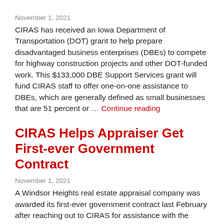November 1, 2021
CIRAS has received an Iowa Department of Transportation (DOT) grant to help prepare disadvantaged business enterprises (DBEs) to compete for highway construction projects and other DOT-funded work. This $133,000 DBE Support Services grant will fund CIRAS staff to offer one-on-one assistance to DBEs, which are generally defined as small businesses that are 51 percent or … Continue reading
CIRAS Helps Appraiser Get First-ever Government Contract
November 1, 2021
A Windsor Heights real estate appraisal company was awarded its first-ever government contract last February after reaching out to CIRAS for assistance with the process. Neilly & Company Real Estate Appraisals received $3,900 from the U.S. Department of Agriculture to